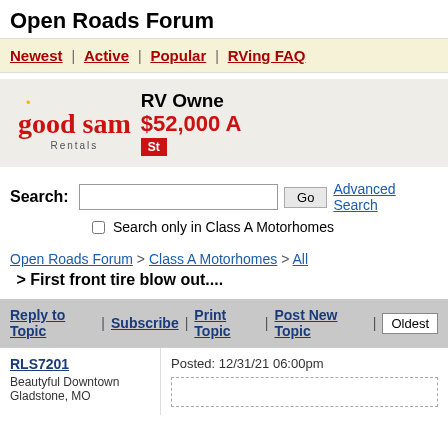Open Roads Forum
Newest | Active | Popular | RVing FAQ
[Figure (advertisement): Good Sam Rentals advertisement banner. Shows 'good sam Rentals' logo on left and text 'RV Owne...' and '$52,000 A...' on the right with a red button.]
Search: [input] Go  Advanced Search
☐ Search only in Class A Motorhomes
Open Roads Forum > Class A Motorhomes > All
> First front tire blow out....
Reply to Topic | Subscribe | Print Topic | Post New Topic | Oldest
| Author | Post |
| --- | --- |
| RLS7201
Beautyful Downtown Gladstone, MO | Posted: 12/31/21 06:00pm |